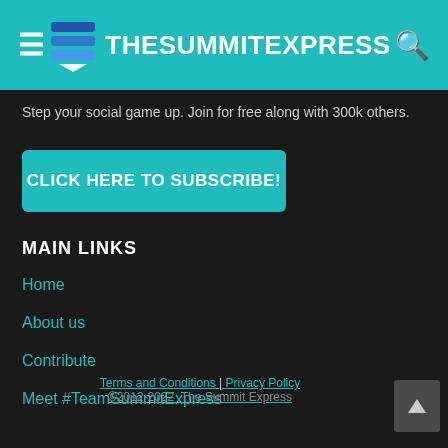TheSummitExpress
Step your social game up. Join for free along with 300k others.
CLICK HERE TO SUBSCRIBE!
MAIN LINKS
Home
About us
Contribute
Meet #TeamSummitExpress
Vacancy: News Writer
Advertise
Terms and Conditions | Privacy Policy
©2012-2022  The Summit Express